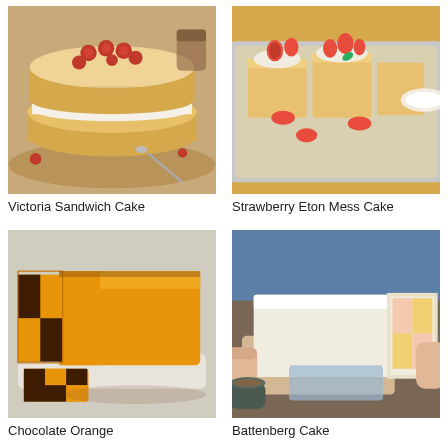[Figure (photo): Victoria Sandwich Cake - a classic layered sponge cake with cream and jam filling, topped with fresh raspberries and icing sugar, on a wooden board]
Victoria Sandwich Cake
[Figure (photo): Strawberry Eton Mess Cake - squares of golden sponge cake topped with cream and fresh strawberries on a baking tray]
Strawberry Eton Mess Cake
[Figure (photo): Chocolate Orange - a Battenberg-style loaf cake with orange and chocolate checkerboard pattern wrapped in orange marzipan, sliced to show interior]
Chocolate Orange
[Figure (photo): Battenberg Cake - traditional pink and yellow checkerboard sponge wrapped in white marzipan, being sliced by hands holding a cloth]
Battenberg Cake